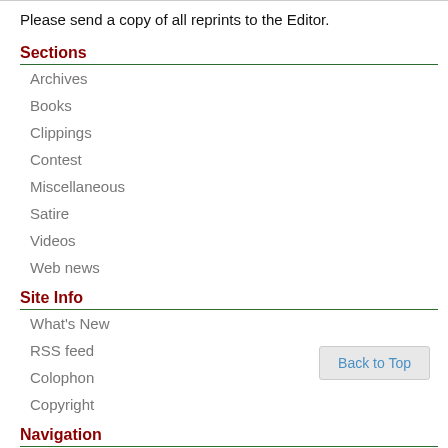Please send a copy of all reprints to the Editor.
Sections
Archives
Books
Clippings
Contest
Miscellaneous
Satire
Videos
Web news
Site Info
What's New
RSS feed
Colophon
Copyright
Navigation
Search
Links